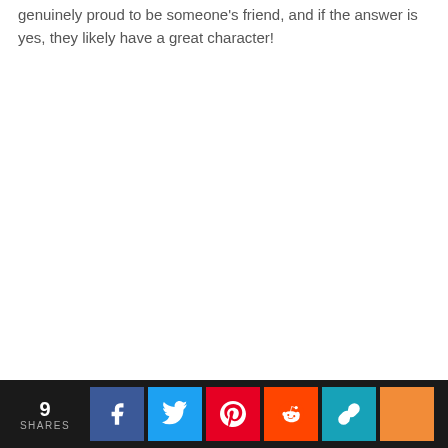genuinely proud to be someone's friend, and if the answer is yes, they likely have a great character!
9 SHARES [Facebook] [Twitter] [Pinterest] [Reddit] [Share] [More]